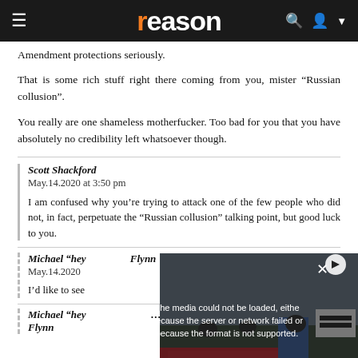reason
Amendment protections seriously.
That is some rich stuff right there coming from you, mister “Russian collusion”.
You really are one shameless motherfucker. Too bad for you that you have absolutely no credibility left whatsoever though.
Scott Shackford
May.14.2020 at 3:50 pm

I am confused why you’re trying to attack one of the few people who did not, in fact, perpetuate the “Russian collusion” talking point, but good luck to you.
Michael “hey ...” Flynn
May.14.2020

I’d like to see...
Michael “hey ...” ...
Flynn
[Figure (screenshot): Video player overlay showing error message: The media could not be loaded, either because the server or network failed or because the format is not supported. Background shows protest rally with people holding signs including AMERICAN!]